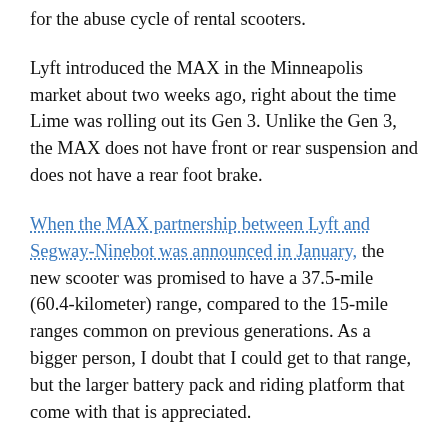for the abuse cycle of rental scooters.
Lyft introduced the MAX in the Minneapolis market about two weeks ago, right about the time Lime was rolling out its Gen 3. Unlike the Gen 3, the MAX does not have front or rear suspension and does not have a rear foot brake.
When the MAX partnership between Lyft and Segway-Ninebot was announced in January, the new scooter was promised to have a 37.5-mile (60.4-kilometer) range, compared to the 15-mile ranges common on previous generations. As a bigger person, I doubt that I could get to that range, but the larger battery pack and riding platform that come with that is appreciated.